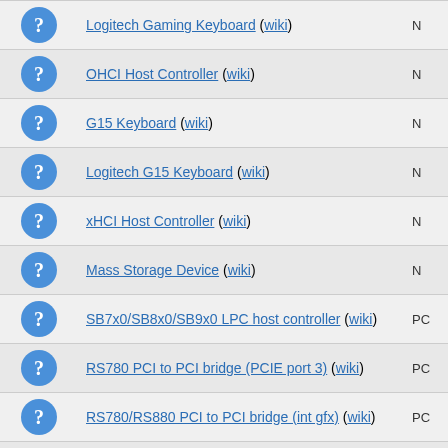|  | Name | Type |
| --- | --- | --- |
| ? | Logitech Gaming Keyboard (wiki) | N... |
| ? | OHCI Host Controller (wiki) | N... |
| ? | G15 Keyboard (wiki) | N... |
| ? | Logitech G15 Keyboard (wiki) | N... |
| ? | xHCI Host Controller (wiki) | N... |
| ? | Mass Storage Device (wiki) | N... |
| ? | SB7x0/SB8x0/SB9x0 LPC host controller (wiki) | PC... |
| ? | RS780 PCI to PCI bridge (PCIE port 3) (wiki) | PC... |
| ? | RS780/RS880 PCI to PCI bridge (int gfx) (wiki) | PC... |
| ? | RS780 PCI to PCI bridge (PCIE port 2) (wiki) | PC... |
| ? | RS780/RS880 PCI to PCI bridge (PCIE port 0) (wiki) | PC... |
| ? | SBx00 PCI to PCI Bridge (wiki) | PC... |
| ? | RS780/RS880 PCI to PCI bridge (PCIE port 1) (wiki) | PC... |
| ? | GA-MA770-DS3rev2.0 Motherboard (wiki) | SE... |
| ? | GA-MA770-DS3rev2.0 Motherboard (wiki) | STO... |